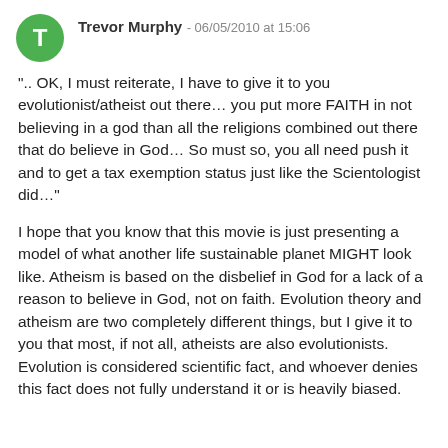Trevor Murphy - 06/05/2010 at 15:06
".. OK, I must reiterate, I have to give it to you evolutionist/atheist out there… you put more FAITH in not believing in a god than all the religions combined out there that do believe in God… So must so, you all need push it and to get a tax exemption status just like the Scientologist did…"
I hope that you know that this movie is just presenting a model of what another life sustainable planet MIGHT look like. Atheism is based on the disbelief in God for a lack of a reason to believe in God, not on faith. Evolution theory and atheism are two completely different things, but I give it to you that most, if not all, atheists are also evolutionists. Evolution is considered scientific fact, and whoever denies this fact does not fully understand it or is heavily biased.